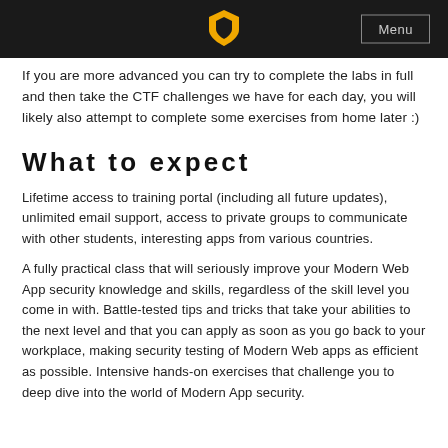Menu
If you are more advanced you can try to complete the labs in full and then take the CTF challenges we have for each day, you will likely also attempt to complete some exercises from home later :)
What to expect
Lifetime access to training portal (including all future updates), unlimited email support, access to private groups to communicate with other students, interesting apps from various countries.
A fully practical class that will seriously improve your Modern Web App security knowledge and skills, regardless of the skill level you come in with. Battle-tested tips and tricks that take your abilities to the next level and that you can apply as soon as you go back to your workplace, making security testing of Modern Web apps as efficient as possible. Intensive hands-on exercises that challenge you to deep dive into the world of Modern App security.